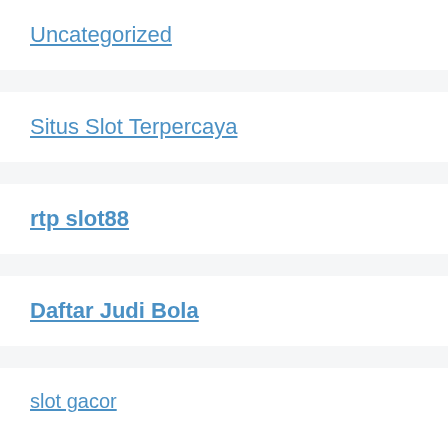Uncategorized
Situs Slot Terpercaya
rtp slot88
Daftar Judi Bola
slot gacor